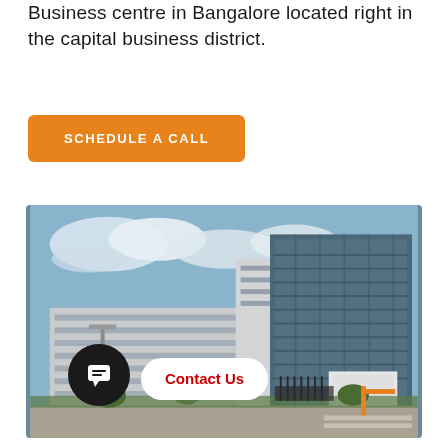Business centre in Bangalore located right in the capital business district.
SCHEDULE A CALL
[Figure (photo): Exterior photograph of a large modern multi-storey commercial office building in Bangalore with glass facades, white concrete structure, blue sky with clouds, landscaped grounds, and a gated entrance. A chat button and Contact Us pill are overlaid at the bottom.]